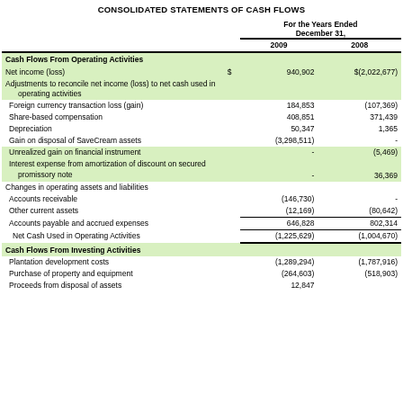CONSOLIDATED STATEMENTS OF CASH FLOWS
|  |  | For the Years Ended December 31, 2009 | For the Years Ended December 31, 2008 |
| --- | --- | --- | --- |
| Cash Flows From Operating Activities |  |  |  |
| Net income (loss) | $ | 940,902 | $(2,022,677) |
| Adjustments to reconcile net income (loss) to net cash used in operating activities |  |  |  |
| Foreign currency transaction loss (gain) |  | 184,853 | (107,369) |
| Share-based compensation |  | 408,851 | 371,439 |
| Depreciation |  | 50,347 | 1,365 |
| Gain on disposal of SaveCream assets |  | (3,298,511) | - |
| Unrealized gain on financial instrument |  | - | (5,469) |
| Interest expense from amortization of discount on secured promissory note |  | - | 36,369 |
| Changes in operating assets and liabilities |  |  |  |
| Accounts receivable |  | (146,730) | - |
| Other current assets |  | (12,169) | (80,642) |
| Accounts payable and accrued expenses |  | 646,828 | 802,314 |
| Net Cash Used in Operating Activities |  | (1,225,629) | (1,004,670) |
| Cash Flows From Investing Activities |  |  |  |
| Plantation development costs |  | (1,289,294) | (1,787,916) |
| Purchase of property and equipment |  | (264,603) | (518,903) |
| Proceeds from disposal of assets |  | 12,847 |  |